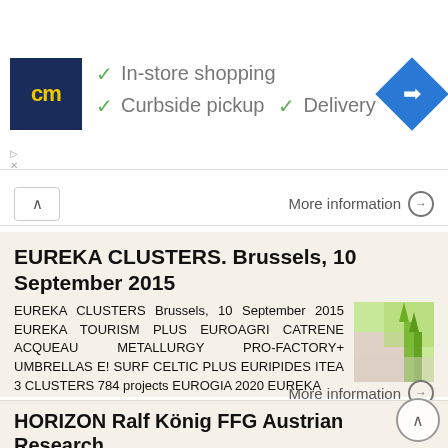[Figure (screenshot): Advertisement banner with CM logo, checkmarks for In-store shopping, Curbside pickup, Delivery, and a blue navigation diamond icon]
More information →
EUREKA CLUSTERS. Brussels, 10 September 2015
EUREKA CLUSTERS Brussels, 10 September 2015 EUREKA TOURISM PLUS EUROAGRI CATRENE ACQUEAU METALLURGY PRO-FACTORY+ UMBRELLAS E! SURF CELTIC PLUS EURIPIDES ITEA 3 CLUSTERS 784 projects EUROGIA 2020 EUREKA
More information →
HORIZON Ralf König FFG Austrian Research Promotion Agency The Eld Fram award